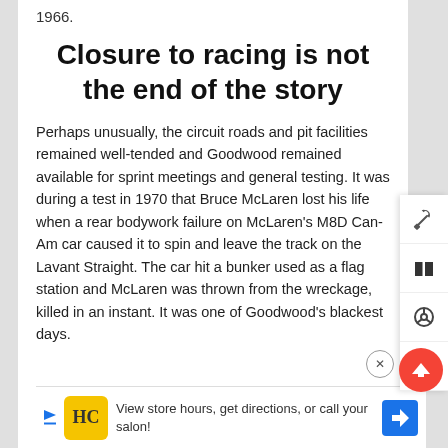1966.
Closure to racing is not the end of the story
Perhaps unusually, the circuit roads and pit facilities remained well-tended and Goodwood remained available for sprint meetings and general testing. It was during a test in 1970 that Bruce McLaren lost his life when a rear bodywork failure on McLaren's M8D Can-Am car caused it to spin and leave the track on the Lavant Straight. The car hit a bunker used as a flag station and McLaren was thrown from the wreckage, killed in an instant. It was one of Goodwood's blackest days.
[Figure (screenshot): Ad banner: HC logo (yellow/black), text 'View store hours, get directions, or call your salon!', blue navigation arrow icon]
[Figure (other): Right sidebar with four icons: tools/wrench, open book, steering wheel, group/location; also red scroll-to-top button and close circle button]